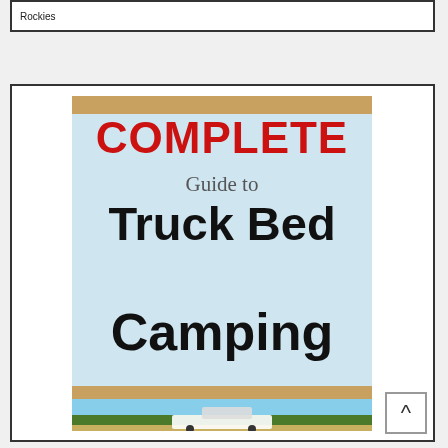Rockies
[Figure (illustration): Book cover for 'COMPLETE Guide to Truck Bed Camping' showing bold red and black text on a light blue background with a truck photo at the bottom]